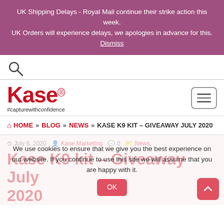UK Shipping Delays - Royal Mail continue their strike action this week. UK Orders will experience delays, we apologies in advance for this. Dismiss
[Figure (illustration): Search icon (magnifying glass)]
[Figure (logo): Kase logo with registered trademark symbol and tagline #capturewithconfidence]
HOME » BLOG » NEWS » KASE K9 KIT – GIVEAWAY JULY 2020
July 6, 2020  Kase Marketing  0  News,
Kase K9 kit – Giveaway July 2020
We use cookies to ensure that we give you the best experience on our website. If you continue to use this site we will assume that you are happy with it.